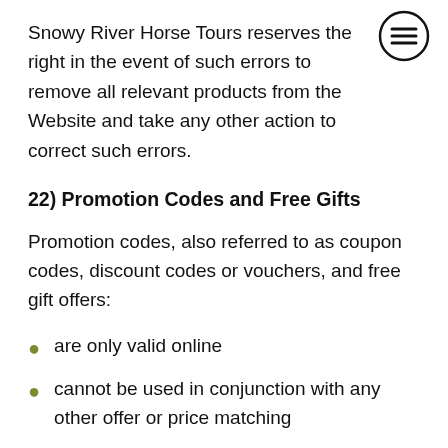Snowy River Horse Tours reserves the right in the event of such errors to remove all relevant products from the Website and take any other action to correct such errors.
22) Promotion Codes and Free Gifts
Promotion codes, also referred to as coupon codes, discount codes or vouchers, and free gift offers:
are only valid online
cannot be used in conjunction with any other offer or price matching
cannot be used/claimed when purchasing